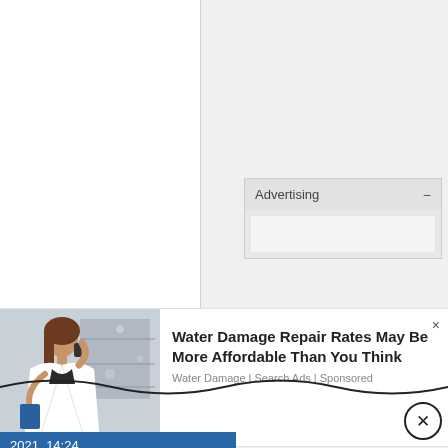[Figure (screenshot): Left white panel and right gray panel forming a two-column UI layout]
Advertising −
[Figure (photo): Woman in white blazer talking on phone in a store/showroom, used in advertisement]
Water Damage Repair Rates May Be More Affordable Than You Think
Water Damage | Search Ads | Sponsored
2021, 14:24
Jolly Red Giant ○
Members